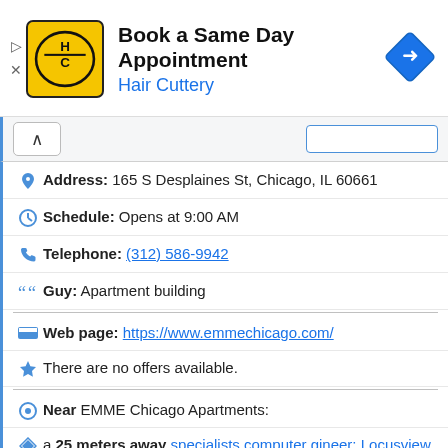[Figure (screenshot): Ad banner for Hair Cuttery with logo and navigation icon. Text: Book a Same Day Appointment / Hair Cuttery]
Address: 165 S Desplaines St, Chicago, IL 60661
Schedule: Opens at 9:00 AM
Telephone: (312) 586-9942
Guy: Apartment building
Web page: https://www.emmechicago.com/
There are no offers available.
Near EMME Chicago Apartments:
a 25 meters away specialists computer gineer: Locusview
a 35 meters away allstate chicago office: Allstate
a 35 meters away sites for families: Chicago HOPES for